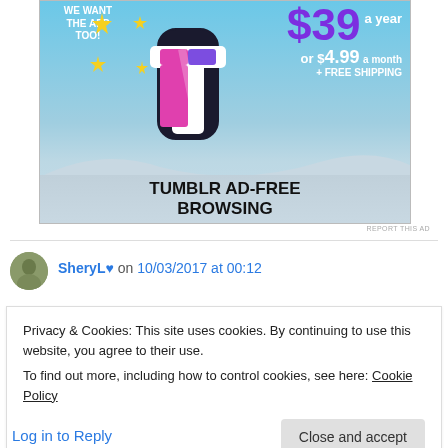[Figure (screenshot): Tumblr Ad-Free Browsing advertisement showing Tumblr logo with price $39 a year or $4.99 a month plus free shipping]
REPORT THIS AD
SheryL♥ on 10/03/2017 at 00:12
Privacy & Cookies: This site uses cookies. By continuing to use this website, you agree to their use.
To find out more, including how to control cookies, see here: Cookie Policy
Close and accept
Log in to Reply